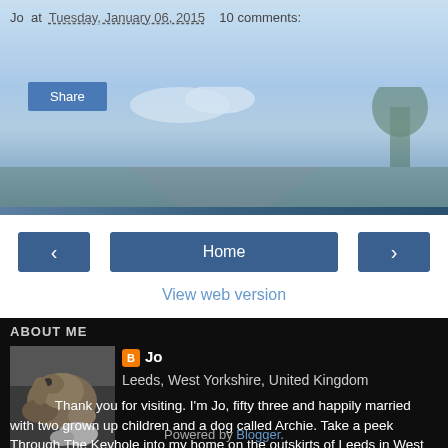Jo at Tuesday, January 06, 2015  10 comments:
Share
< Home >
View web version
ABOUT ME
[Figure (photo): Photo of a dog lying on the ground with a stuffed toy animal]
Jo
Leeds, West Yorkshire, United Kingdom
Thank you for visiting. I'm Jo, fifty three and happily married with two grown up children and a dog called Archie. Take a peek Through The Keyhole into my home on the outskirts of Leeds in West Yorkshire, England. Here you'll see a little of what I get up to on my crafty adventures as well as snippets of family life. I hope you enjoy reading along.
View my complete profile
Powered by Blogger.